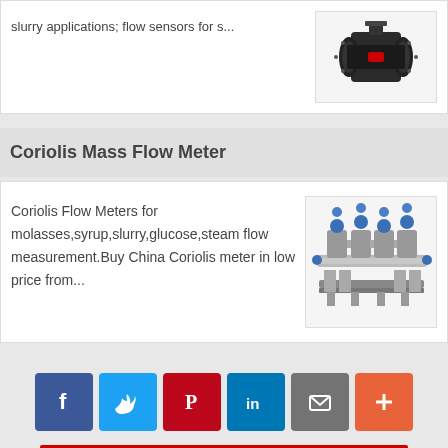slurry applications; flow sensors for s...
[Figure (photo): Black flanged flow meter/sensor device]
Coriolis Mass Flow Meter
Coriolis Flow Meters for molasses,syrup,slurry,glucose,steam flow measurement.Buy China Coriolis meter in low price from...
[Figure (photo): Multiple Coriolis mass flow meters assembled together with blue fittings]
[Figure (infographic): Social share buttons: Facebook, Twitter, Pinterest, LinkedIn, Email, More]
[Figure (other): Red button at bottom of page]